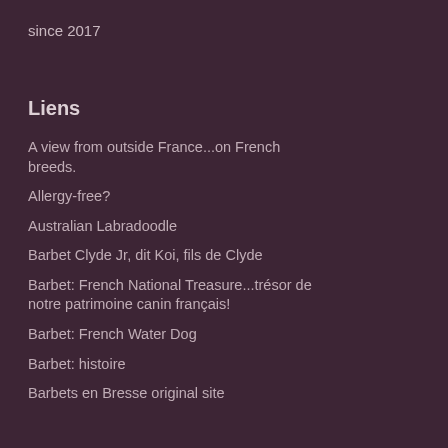since 2017
Liens
A view from outside France...on French breeds.
Allergy-free?
Australian Labradoodle
Barbet Clyde Jr, dit Koi, fils de Clyde
Barbet: French National Treasure...trésor de notre patrimoine canin français!
Barbet: French Water Dog
Barbet: histoire
Barbets en Bresse original site